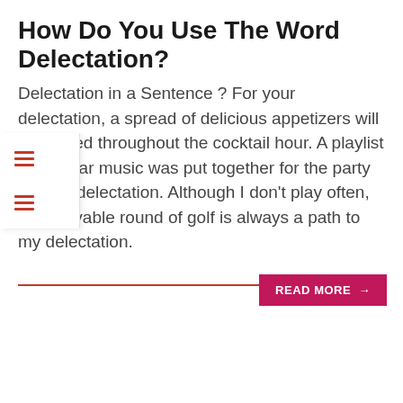How Do You Use The Word Delectation?
Delectation in a Sentence ? For your delectation, a spread of delicious appetizers will be served throughout the cocktail hour. A playlist of popular music was put together for the party guest's delectation. Although I don't play often, an enjoyable round of golf is always a path to my delectation.
READ MORE →